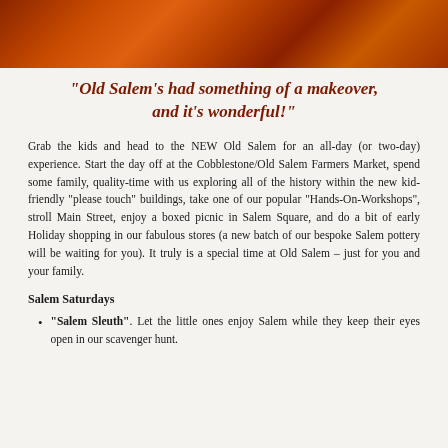[Figure (photo): Orange-red autumn foliage or textured ground cover viewed from above, used as a decorative banner image.]
“Old Salem’s had something of a makeover, and it’s wonderful!”
Grab the kids and head to the NEW Old Salem for an all-day (or two-day) experience. Start the day off at the Cobblestone/Old Salem Farmers Market, spend some family, quality-time with us exploring all of the history within the new kid-friendly “please touch” buildings, take one of our popular “Hands-On-Workshops”, stroll Main Street, enjoy a boxed picnic in Salem Square, and do a bit of early Holiday shopping in our fabulous stores (a new batch of our bespoke Salem pottery will be waiting for you). It truly is a special time at Old Salem – just for you and your family.
Salem Saturdays
“Salem Sleuth”. Let the little ones enjoy Salem while they keep their eyes open in our scavenger hunt.